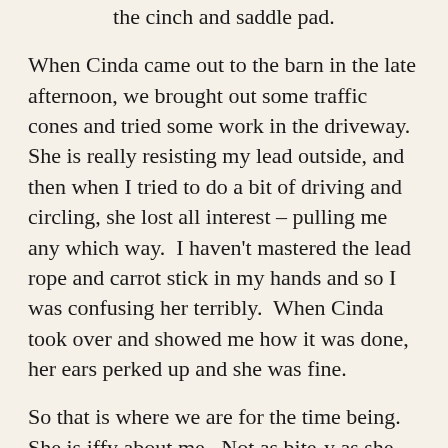the cinch and saddle pad.
When Cinda came out to the barn in the late afternoon, we brought out some traffic cones and tried some work in the driveway.  She is really resisting my lead outside, and then when I tried to do a bit of driving and circling, she lost all interest – pulling me any which way.  I haven't mastered the lead rope and carrot stick in my hands and so I was confusing her terribly.  When Cinda took over and showed me how it was done, her ears perked up and she was fine.
So that is where we are for the time being.  She is iffy about me.  Not as bite-y as she has been, but it is still there and I am going to need to get really good with the next few challenges.  I have to prove I know it better than she does.
...partial text at bottom cut off...